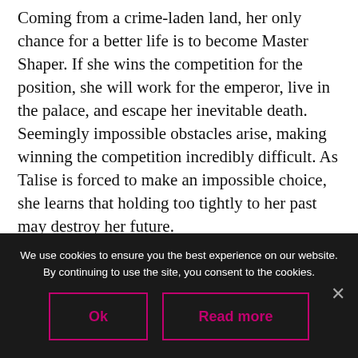Coming from a crime-laden land, her only chance for a better life is to become Master Shaper. If she wins the competition for the position, she will work for the emperor, live in the palace, and escape her inevitable death. Seemingly impossible obstacles arise, making winning the competition incredibly difficult. As Talise is forced to make an impossible choice, she learns that holding too tightly to her past may destroy her future.
CLICK A LINK BELOW TO BUY THE
We use cookies to ensure you the best experience on our website. By continuing to use the site, you consent to the cookies.